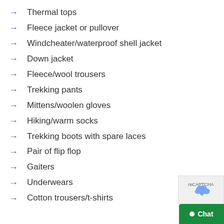Thermal tops
Fleece jacket or pullover
Windcheater/waterproof shell jacket
Down jacket
Fleece/wool trousers
Trekking pants
Mittens/woolen gloves
Hiking/warm socks
Trekking boots with spare laces
Pair of flip flop
Gaiters
Underwears
Cotton trousers/t-shirts